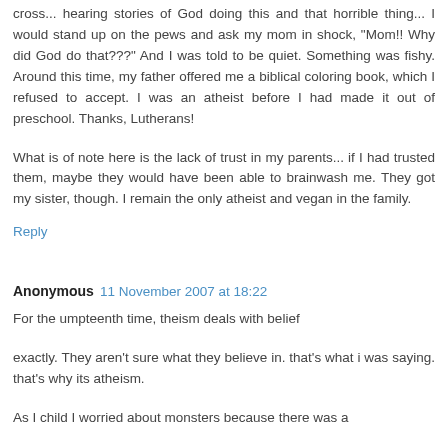cross... hearing stories of God doing this and that horrible thing... I would stand up on the pews and ask my mom in shock, "Mom!! Why did God do that???" And I was told to be quiet. Something was fishy. Around this time, my father offered me a biblical coloring book, which I refused to accept. I was an atheist before I had made it out of preschool. Thanks, Lutherans!
What is of note here is the lack of trust in my parents... if I had trusted them, maybe they would have been able to brainwash me. They got my sister, though. I remain the only atheist and vegan in the family.
Reply
Anonymous  11 November 2007 at 18:22
For the umpteenth time, theism deals with belief
exactly. They aren't sure what they believe in. that's what i was saying. that's why its atheism.
As I child I worried about monsters because there was a